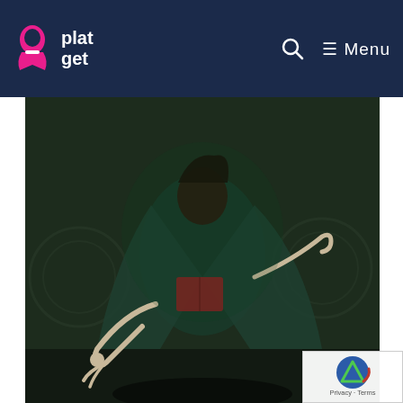plat get  [search] ≡ Menu
[Figure (photo): Dark atmospheric screenshot of the Fool's Idol Boss from a video game — a tall figure in a dark green flowing robe holding a book, with skeletal hands and a dramatic pose against a textured dark background.]
Fool's Idol Boss
Before you even start this boss fight, make sure you go up the top floor of the church (you can use the spiral staircases by the giant Iron Maiden that you had to disable) and kill the NPC there otherwise he will revive the boss once you've killed her making the entire fight pointless.